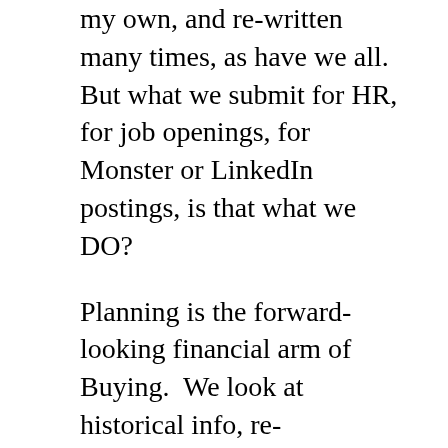my own, and re-written many times, as have we all. But what we submit for HR, for job openings, for Monster or LinkedIn postings, is that what we DO?
Planning is the forward-looking financial arm of Buying.  We look at historical info, re-seasonalize, smooth out anomalies, and project (and re-project) We work in season, pre-season, and post season, all at the same time. We determine the best course of action to flow inventory- when (timing), how much, method (DSD, Whse, drop ship)
Planning uses analytics, planning sometimes creates the analytics.
Planning interfaces with DC, Stores,